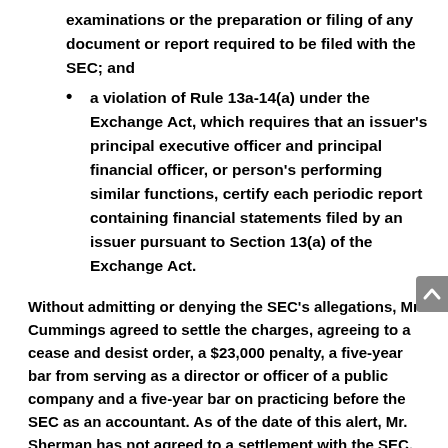examinations or the preparation or filing of any document or report required to be filed with the SEC; and
a violation of Rule 13a-14(a) under the Exchange Act, which requires that an issuer's principal executive officer and principal financial officer, or person's performing similar functions, certify each periodic report containing financial statements filed by an issuer pursuant to Section 13(a) of the Exchange Act.
Without admitting or denying the SEC's allegations, Mr. Cummings agreed to settle the charges, agreeing to a cease and desist order, a $23,000 penalty, a five-year bar from serving as a director or officer of a public company and a five-year bar on practicing before the SEC as an accountant. As of the date of this alert, Mr. Sherman has not agreed to a settlement with the SEC.
In the press release issued by the SEC announcing the enforcement proceedings against Messrs. Sherman and